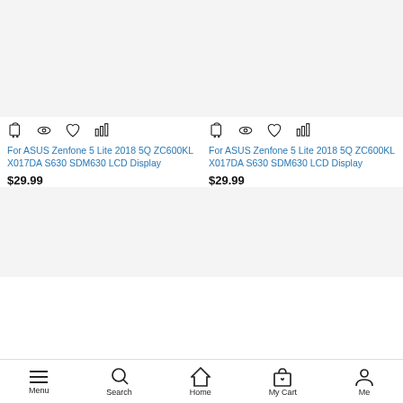[Figure (screenshot): Product image placeholder for item 1 (light gray background)]
[Figure (screenshot): Product image placeholder for item 2 (light gray background)]
For ASUS Zenfone 5 Lite 2018 5Q ZC600KL X017DA S630 SDM630 LCD Display
$29.99
For ASUS Zenfone 5 Lite 2018 5Q ZC600KL X017DA S630 SDM630 LCD Display
$29.99
[Figure (screenshot): Product image placeholder for item 3 (light gray background)]
[Figure (screenshot): Product image placeholder for item 4 (light gray background)]
Menu | Search | Home | My Cart | Me